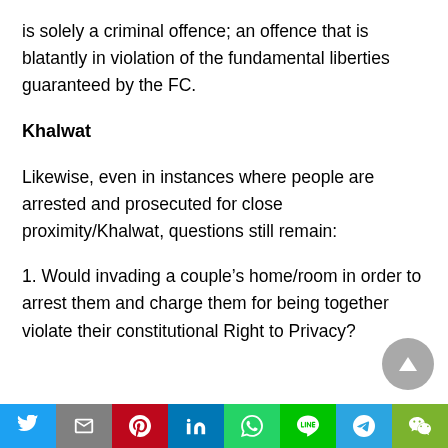is solely a criminal offence; an offence that is blatantly in violation of the fundamental liberties guaranteed by the FC.
Khalwat
Likewise, even in instances where people are arrested and prosecuted for close proximity/Khalwat, questions still remain:
1. Would invading a couple’s home/room in order to arrest them and charge them for being together violate their constitutional Right to Privacy?